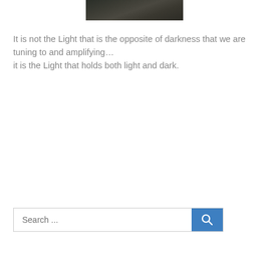[Figure (photo): Dark, moody photograph with dim lighting, appears to show a shadowy scene]
It is not the Light that is the opposite of darkness that we are tuning to and amplifying…
it is the Light that holds both light and dark.
[Figure (other): Search bar with text input field labeled 'Search ...' and a blue search button with magnifying glass icon]